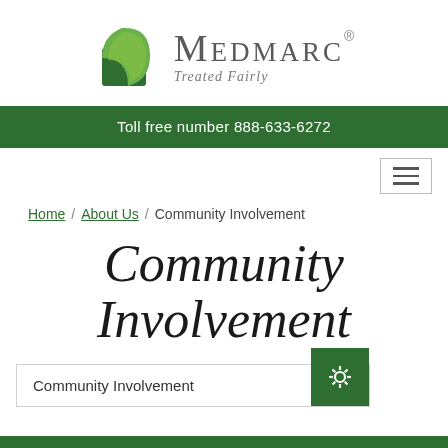[Figure (logo): Medmarc logo with green leaf/book icon and text 'MEDMARC. Treated Fairly']
Toll free number 888-633-6272
[Figure (other): Hamburger menu button (three horizontal lines) with border]
Home / About Us / Community Involvement
Community Involvement
Community Involvement